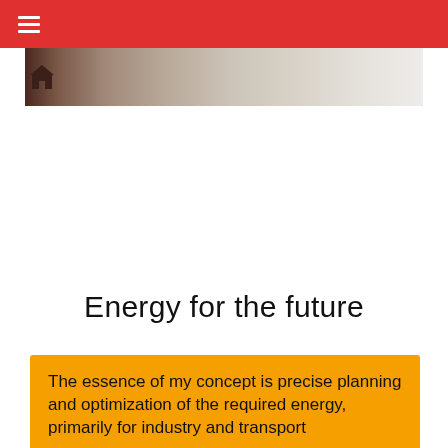☰
[Figure (photo): Partial view of a house or building exterior in a wintry or hazy landscape, with a dark house-shaped icon on the left side]
Energy for the future
The essence of my concept is precise planning and optimization of the required energy, primarily for industry and transport